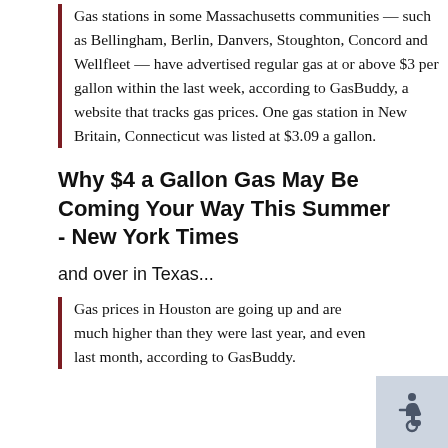Gas stations in some Massachusetts communities — such as Bellingham, Berlin, Danvers, Stoughton, Concord and Wellfleet — have advertised regular gas at or above $3 per gallon within the last week, according to GasBuddy, a website that tracks gas prices. One gas station in New Britain, Connecticut was listed at $3.09 a gallon.
Why $4 a Gallon Gas May Be Coming Your Way This Summer - New York Times
and over in Texas...
Gas prices in Houston are going up and are much higher than they were last year, and even last month, according to GasBuddy.